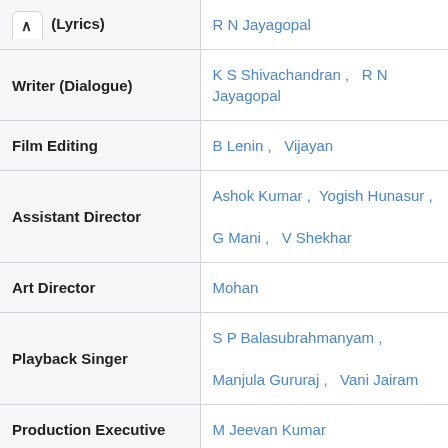| Role | Names |
| --- | --- |
| ↑ (Lyrics) | R N Jayagopal |
| Writer (Dialogue) | K S Shivachandran ,   R N Jayagopal |
| Film Editing | B Lenin ,   Vijayan |
| Assistant Director | Ashok Kumar ,   Yogish Hunasur ,   G Mani ,   V Shekhar |
| Art Director | Mohan |
| Playback Singer | S P Balasubrahmanyam ,   Manjula Gururaj ,   Vani Jairam |
| Production Executive | M Jeevan Kumar |
| Costume | Nagaraj |
| Stills | Murthy ,   Ramesh |